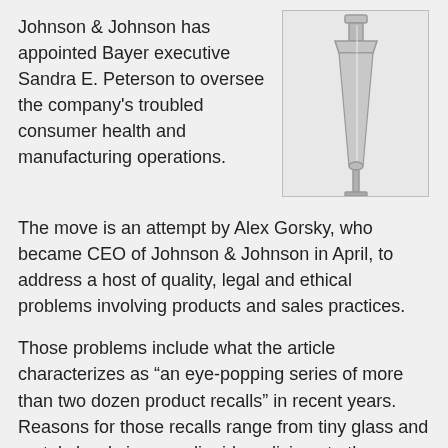Johnson & Johnson has appointed Bayer executive Sandra E. Peterson to oversee the company's troubled consumer health and manufacturing operations.
[Figure (photo): A medical device — appears to be a metal orthopedic hip implant stem on a white background]
The move is an attempt by Alex Gorsky, who became CEO of Johnson & Johnson in April, to address a host of quality, legal and ethical problems involving products and sales practices.
Those problems include what the article characterizes as “an eye-popping series of more than two dozen product recalls” in recent years. Reasons for those recalls range from tiny glass and metal shards in some liquid medicines to the wrong levels of active ingredients and nauseating odors in product packaging.
Johnson & Johnson is also dealing with the legal ramifications of thousands of lawsuits filed over dangerous medical devices that the company has pulled from the market. Those devices include DePuy Orthopaedics all-metal hip implants, recalled in